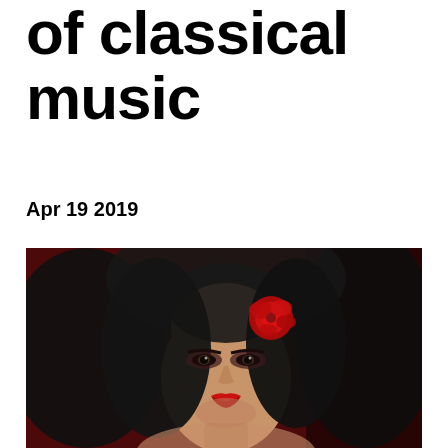of classical music
Apr 19 2019
[Figure (photo): Portrait of a woman with curly black hair and a red rose, wearing dramatic makeup with red lips, against a dark red background.]